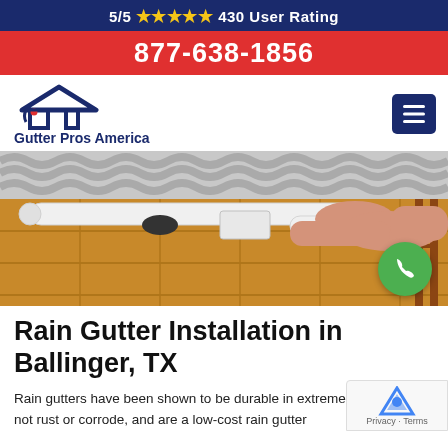5/5 ★★★★★ 430 User Rating
877-638-1856
[Figure (logo): Gutter Pros America logo with house icon in navy blue]
[Figure (photo): Person installing white rain gutters on a building with corrugated roof]
Rain Gutter Installation in Ballinger, TX
Rain gutters have been shown to be durable in extreme climates, do not rust or corrode, and are a low-cost rain gutter